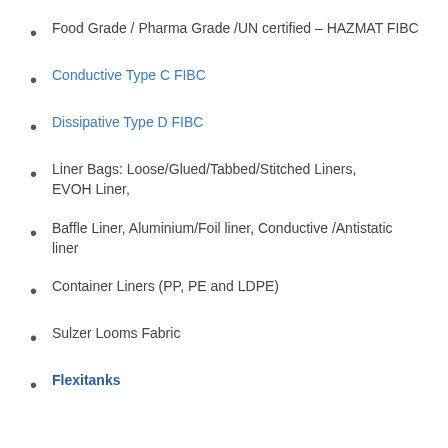Food Grade / Pharma Grade /UN certified – HAZMAT FIBC
Conductive Type C FIBC
Dissipative Type D FIBC
Liner Bags: Loose/Glued/Tabbed/Stitched Liners, EVOH Liner,
Baffle Liner, Aluminium/Foil liner, Conductive /Antistatic liner
Container Liners (PP, PE and LDPE)
Sulzer Looms Fabric
Flexitanks